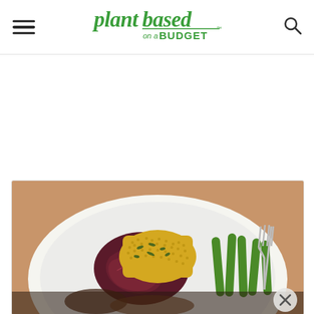Plant Based on a Budget - navigation header with hamburger menu, logo, and search icon
[Figure (other): Advertisement area (blank white space)]
[Figure (photo): A white plate with food: yellow couscous or millet grain dish, roasted/caramelized red onion, and green beans, with a fork visible on the right side. Photographed on a russet/terracotta colored background.]